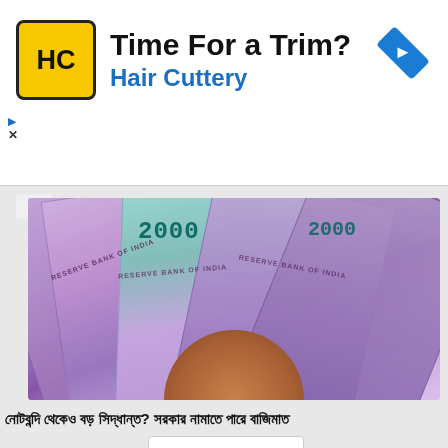[Figure (screenshot): Hair Cuttery advertisement banner with yellow HC logo, title 'Time For a Trim?' and subtitle 'Hair Cuttery' in blue, and a blue navigation arrow icon on the right]
[Figure (photo): Photo of multiple Indian Rupee 2000 denomination banknotes fanned out, held in a hand, with pink/purple coloring]
নোটবন্দি থেকেও বড় সিদ্ধান্ত? সরকার নামাতে পারে বাজিমাত
[Figure (screenshot): Dropdown chevron (down arrow) UI element with red color on white background]
নোটবন্দির সময় থেকে বড়ো পদক্ষেপ নিয়েছিল সরকার। এবারও নামাতে পারে বাজিমাত।
[Figure (screenshot): Vrbo advertisement on dark navy background with Vrbo logo in white italic font, 'Book Now' blue button, and tagline 'Whenever you're ready to travel, we'll be here. Please follow local travel and safety guidelines.']